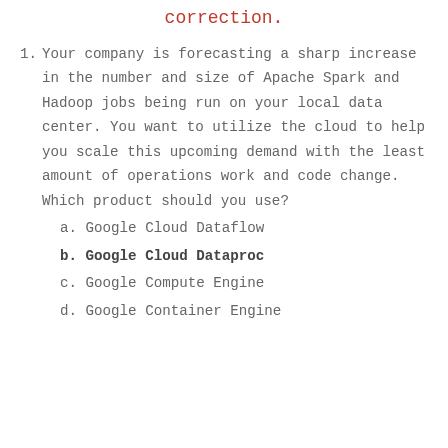correction.
1. Your company is forecasting a sharp increase in the number and size of Apache Spark and Hadoop jobs being run on your local data center. You want to utilize the cloud to help you scale this upcoming demand with the least amount of operations work and code change. Which product should you use?
a. Google Cloud Dataflow
b. Google Cloud Dataproc
c. Google Compute Engine
d. Google Container Engine